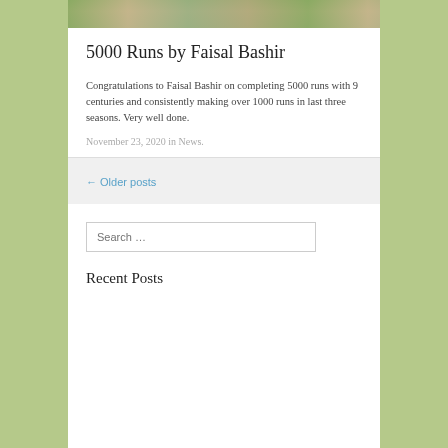[Figure (photo): Partial photo strip showing a person in white clothing, cropped at top]
5000 Runs by Faisal Bashir
Congratulations to Faisal Bashir on completing 5000 runs with 9 centuries and consistently making over 1000 runs in last three seasons. Very well done.
November 23, 2020 in News.
← Older posts
Search …
Recent Posts